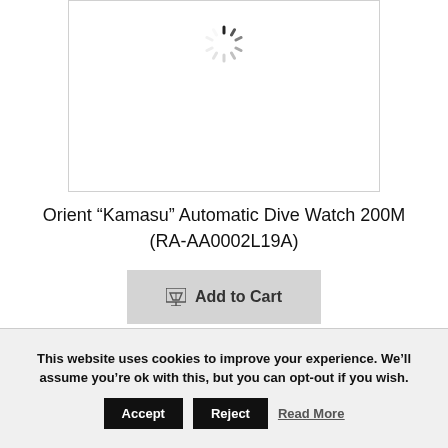[Figure (other): Product image box with loading spinner (circular spinner animation visible, image still loading)]
Orient “Kamasu” Automatic Dive Watch 200M (RA-AA0002L19A)
Add to Cart
This website uses cookies to improve your experience. We’ll assume you’re ok with this, but you can opt-out if you wish.
Accept  Reject  Read More